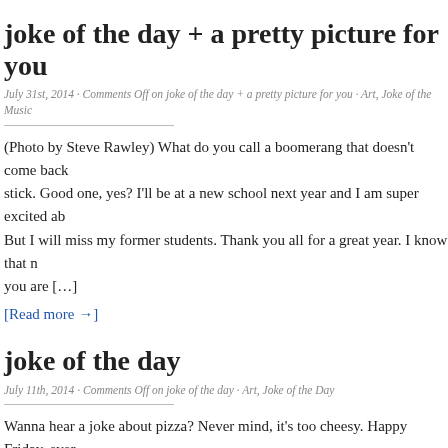joke of the day + a pretty picture for you
July 31st, 2014 · Comments Off on joke of the day + a pretty picture for you · Art, Joke of the Music
(Photo by Steve Rawley) What do you call a boomerang that doesn't come back stick. Good one, yes? I'll be at a new school next year and I am super excited ab But I will miss my former students. Thank you all for a great year. I know that n you are […]
[Read more →]
joke of the day
July 11th, 2014 · Comments Off on joke of the day · Art, Joke of the Day
Wanna hear a joke about pizza? Never mind, it's too cheesy. Happy Friday, ever Mrs. R Fourth of July on the Oregon Coast, 2014 (Photo by Steve Rawley)